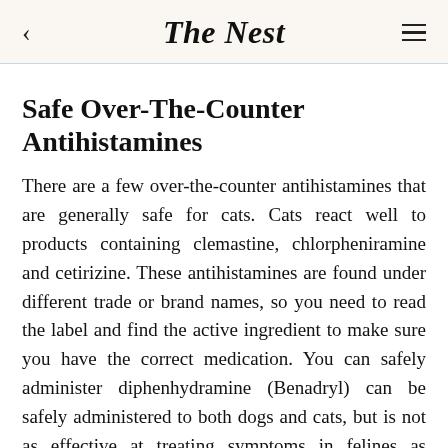The Nest
Safe Over-The-Counter Antihistamines
There are a few over-the-counter antihistamines that are generally safe for cats. Cats react well to products containing clemastine, chlorpheniramine and cetirizine. These antihistamines are found under different trade or brand names, so you need to read the label and find the active ingredient to make sure you have the correct medication. You can safely administer diphenhydramine (Benadryl) can be safely administered to both dogs and cats, but is not as effective at treating symptoms in felines as chlorpheniramine, according to Wedgewood Pharmacy. Take note of all of the